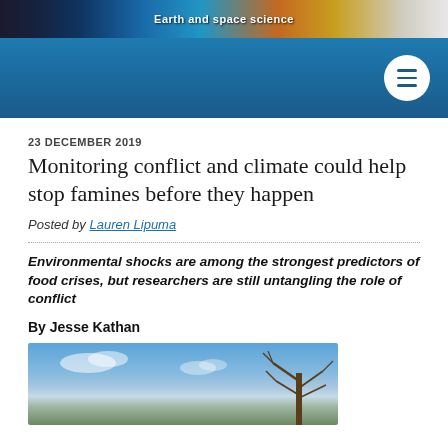Earth and space science
[Figure (screenshot): Navigation bar with teal/blue gradient background and hamburger menu button (white circle with three horizontal lines) on the right side]
23 DECEMBER 2019
Monitoring conflict and climate could help stop famines before they happen
Posted by Lauren Lipuma
Environmental shocks are among the strongest predictors of food crises, but researchers are still untangling the role of conflict
By Jesse Kathan
[Figure (photo): Blue sky with light clouds and a bare tree visible on the right side, landscape photo]